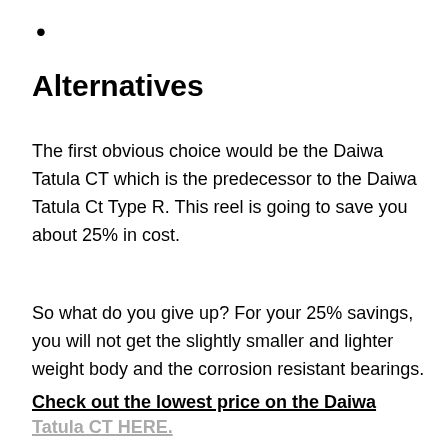•
Alternatives
The first obvious choice would be the Daiwa Tatula CT which is the predecessor to the Daiwa Tatula Ct Type R.  This reel is going to save you about 25% in cost.
So what do you give up? For your 25% savings, you will not get the slightly smaller and lighter weight body and the corrosion resistant bearings.
Check out the lowest price on the Daiwa Tatula CT HERE.